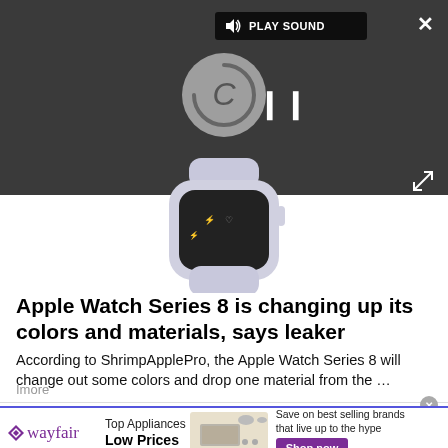[Figure (screenshot): Video player with dark background showing a loading spinner and pause icon. A 'PLAY SOUND' button with speaker icon is in the top-left of the player. An X close button is in the top-right corner. An expand icon is in the bottom-right. An Apple Watch Series 8 in light purple/silver is partially visible below the player.]
Apple Watch Series 8 is changing up its colors and materials, says leaker
According to ShrimpApplePro, the Apple Watch Series 8 will change out some colors and drop one material from the …
Imore
[Figure (infographic): Wayfair advertisement banner. Shows Wayfair logo with purple gem icon, 'Top Appliances Low Prices' text, image of a stove/range appliance, and 'Save on best selling brands that live up to the hype' with a purple 'Shop now' button.]